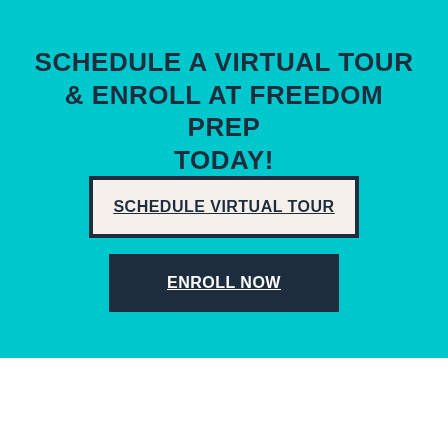SCHEDULE A VIRTUAL TOUR & ENROLL AT FREEDOM PREP TODAY!
SCHEDULE VIRTUAL TOUR
ENROLL NOW